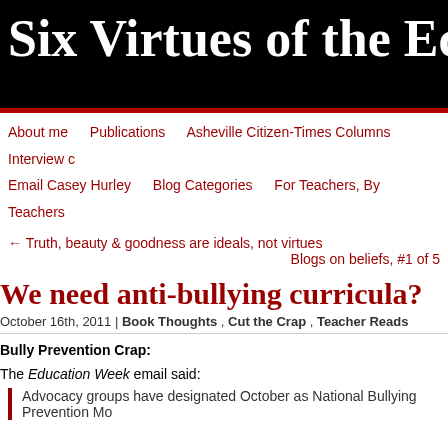Six Virtues of the Ed…
About me  Publications  Asheville Citizen-Times Columns  Interview c…  Email Casey Hurley  Blog Categories  For Teachers, By Teachers
← Truth, beauty & goodness are ideals, not virtues
Blogs on beliefs, #1 of 5…
We need anti-bullying curricula?
October 16th, 2011 | Book Thoughts , Cut the Crap , Teacher Reads
Bully Prevention Crap:
The Education Week email said:
Advocacy groups have designated October as National Bullying Prevention Mo…